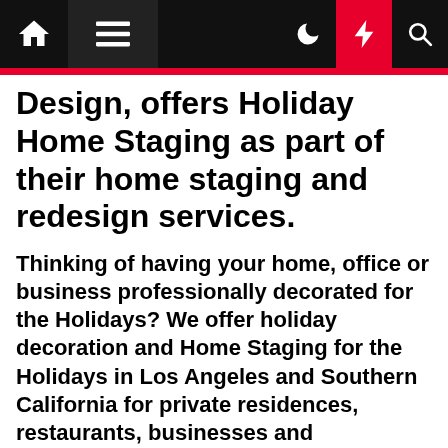[Navigation bar with home, menu, moon, lightning, search icons]
Design, offers Holiday Home Staging as part of their home staging and redesign services.
Thinking of having your home, office or business professionally decorated for the Holidays? We offer holiday decoration and Home Staging for the Holidays in Los Angeles and Southern California for private residences, restaurants, businesses and commercial buildings.
Our team of home stagers will transform your home or business with holiday decor, be it Thanksgiving, Christmas, Hanukkah, Kwanza or New Years. Our